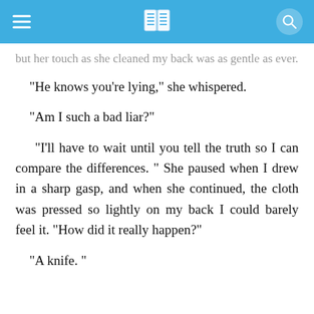App header with hamburger menu, book icon, and search button
but her touch as she cleaned my back was as gentle as ever.
“He knows you’re lying,” she whispered.
“Am I such a bad liar?”
“I’ll have to wait until you tell the truth so I can compare the differences.” She paused when I drew in a sharp gasp, and when she continued, the cloth was pressed so lightly on my back I could barely feel it. “How did it really happen?”
“A knife.”